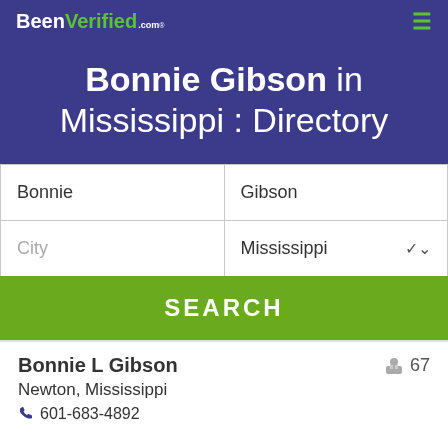BeenVerified.com
Bonnie Gibson in Mississippi : Directory
Bonnie | Gibson
City | Mississippi
SEARCH
Bonnie L Gibson | 67
Newton, Mississippi
601-683-4892